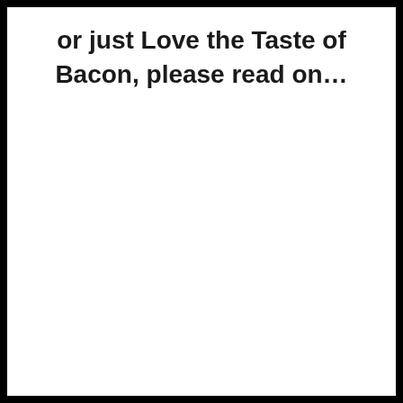or just Love the Taste of Bacon, please read on…